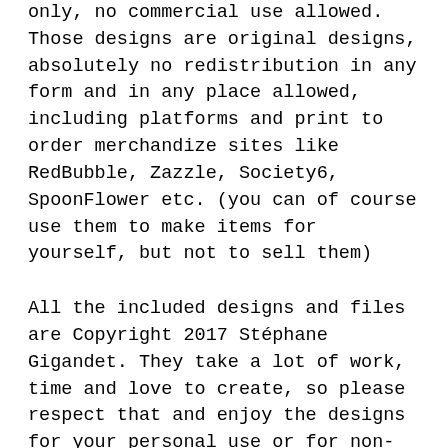You can use the files for personal use and non-profit use only, no commercial use allowed. Those designs are original designs, absolutely no redistribution in any form and in any place allowed, including platforms and print to order merchandize sites like RedBubble, Zazzle, Society6, SpoonFlower etc. (you can of course use them to make items for yourself, but not to sell them)
All the included designs and files are Copyright 2017 Stéphane Gigandet. They take a lot of work, time and love to create, so please respect that and enjoy the designs for your personal use or for non-profit use only. Thank you.
■ ■ ■ THANK YOU! ■ ■ ■
I would love to see what you do with my designs, so if you